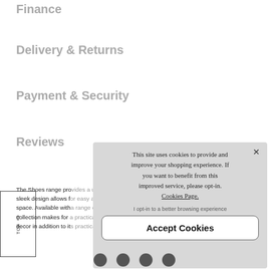Finance
Delivery & Returns
Payment & Security
Reviews
The Shoes range pro... sleek design allows f... space. Available with... collection makes for... decor in addition to it...
This site uses cookies to provide and improve your shopping experience. If you want to benefit from this improved service, please opt-in. Cookies Page.
I opt-in to a better browsing experience
Accept Cookies